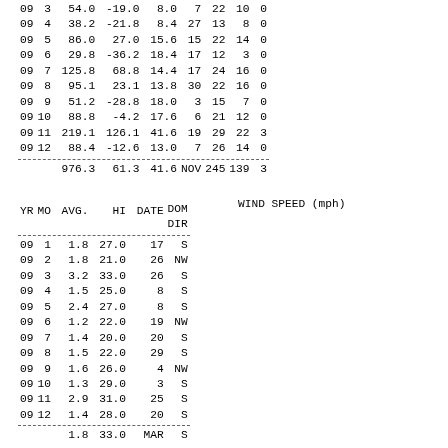| YR | MO | AVG. | HI | DATE | DOM DIR | WIND SPEED AVG | WIND SPEED HI | WIND SPEED (mph) |
| --- | --- | --- | --- | --- | --- | --- | --- | --- |
| 09 | 3 | 54.0 | -19.0 | 8.0 | 7 | 22 | 10 | 0 |
| 09 | 4 | 38.2 | -21.8 | 8.4 | 27 | 13 | 8 | 0 |
| 09 | 5 | 86.0 | 27.0 | 15.6 | 15 | 22 | 14 | 0 |
| 09 | 6 | 29.8 | -36.2 | 18.4 | 17 | 12 | 3 | 0 |
| 09 | 7 | 125.8 | 68.8 | 14.4 | 17 | 24 | 16 | 0 |
| 09 | 8 | 95.1 | 23.1 | 13.8 | 30 | 22 | 16 | 0 |
| 09 | 9 | 51.2 | -28.8 | 18.0 | 3 | 15 | 7 | 0 |
| 09 | 10 | 88.8 | -4.2 | 17.6 | 6 | 21 | 12 | 0 |
| 09 | 11 | 219.1 | 126.1 | 41.6 | 19 | 29 | 22 | 3 |
| 09 | 12 | 88.4 | -12.6 | 13.0 | 7 | 26 | 14 | 0 |
|  |  | 976.3 | 61.3 | 41.6 | NOV | 245 | 139 | 3 |
| YR | MO | AVG. | HI | DATE | DOM DIR |
| --- | --- | --- | --- | --- | --- |
| 09 | 1 | 1.8 | 27.0 | 17 | S |
| 09 | 2 | 1.8 | 21.0 | 26 | NW |
| 09 | 3 | 3.2 | 33.0 | 26 | S |
| 09 | 4 | 1.5 | 25.0 | 8 | S |
| 09 | 5 | 2.4 | 27.0 | 8 | S |
| 09 | 6 | 1.2 | 22.0 | 19 | NW |
| 09 | 7 | 1.4 | 20.0 | 20 | S |
| 09 | 8 | 1.5 | 22.0 | 29 | S |
| 09 | 9 | 1.6 | 26.0 | 4 | NW |
| 09 | 10 | 1.3 | 29.0 | 3 | S |
| 09 | 11 | 2.9 | 31.0 | 25 | S |
| 09 | 12 | 1.4 | 28.0 | 20 | S |
|  |  | 1.8 | 33.0 | MAR | S |